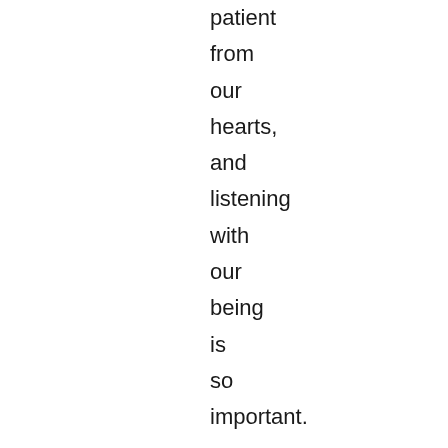patient from our hearts, and listening with our being is so important.
It certainly worked for me.
NOTE: The